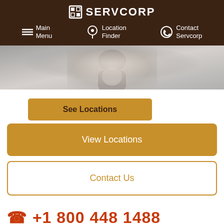SERVCORP
Main Menu | Location Finder | Contact Servcorp
[Figure (photo): Blurred grayscale photo of a person in business attire, cropped to show neck/torso area]
See Locations
View Locations
Contact Us
+1 800 448 1488